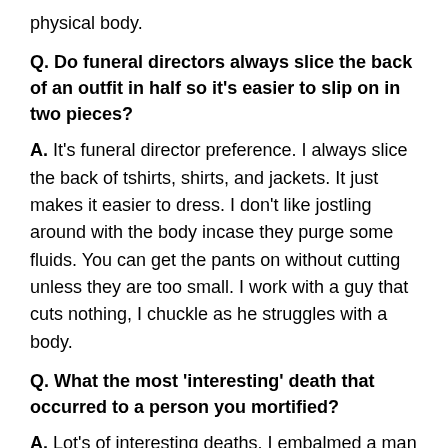physical body.
Q. Do funeral directors always slice the back of an outfit in half so it's easier to slip on in two pieces?
A. It's funeral director preference. I always slice the back of tshirts, shirts, and jackets. It just makes it easier to dress. I don't like jostling around with the body incase they purge some fluids. You can get the pants on without cutting unless they are too small. I work with a guy that cuts nothing, I chuckle as he struggles with a body.
Q. What the most 'interesting' death that occurred to a person you mortified?
A. Lot's of interesting deaths. I embalmed a man that was found dead, leaning over a balcony in the front of his house. It was October and with all his decorations